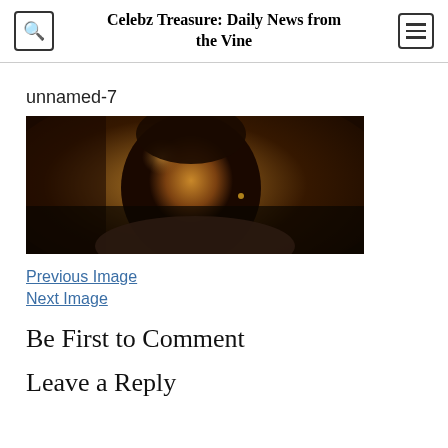Celebz Treasure: Daily News from the Vine
unnamed-7
[Figure (photo): Close-up photo of a Black man with dreadlocks and an earring, looking intensely at the camera, dark cinematic lighting]
Previous Image
Next Image
Be First to Comment
Leave a Reply